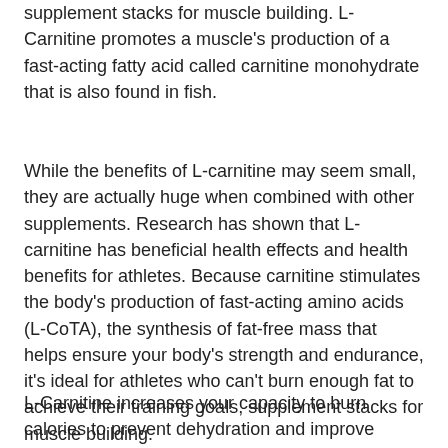supplement stacks for muscle building. L-Carnitine promotes a muscle's production of a fast-acting fatty acid called carnitine monohydrate that is also found in fish.
While the benefits of L-carnitine may seem small, they are actually huge when combined with other supplements. Research has shown that L-carnitine has beneficial health effects and health benefits for athletes. Because carnitine stimulates the body's production of fast-acting amino acids (L-CoTA), the synthesis of fat-free mass that helps ensure your body's strength and endurance, it's ideal for athletes who can't burn enough fat to achieve their training goals, supplement stacks for muscle building.
L-Carnitine increases your capacity to burn calories to prevent dehydration and improve